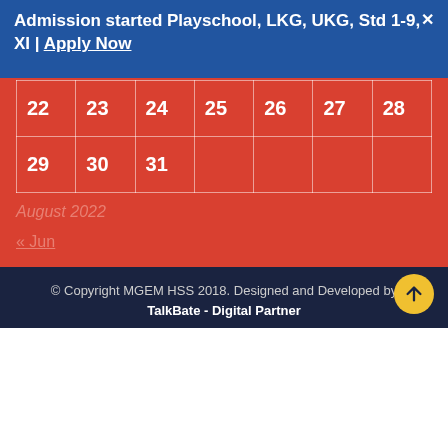Admission started Playschool, LKG, UKG, Std 1-9, XI | Apply Now
| 22 | 23 | 24 | 25 | 26 | 27 | 28 |
| 29 | 30 | 31 |  |  |  |  |
August 2022
« Jun
© Copyright MGEM HSS 2018. Designed and Developed by TalkBate - Digital Partner